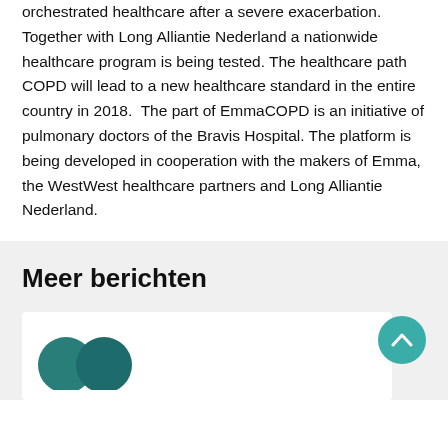orchestrated healthcare after a severe exacerbation. Together with Long Alliantie Nederland a nationwide healthcare program is being tested. The healthcare path COPD will lead to a new healthcare standard in the entire country in 2018. The part of EmmaCOPD is an initiative of pulmonary doctors of the Bravis Hospital. The platform is being developed in cooperation with the makers of Emma, the WestWest healthcare partners and Long Alliantie Nederland.
Meer berichten
[Figure (logo): Logo with teal infinity/overlapping circles shape at bottom of page]